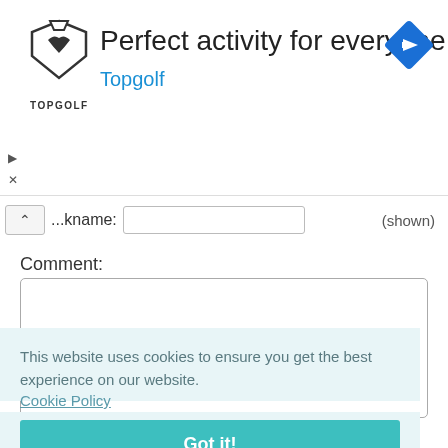[Figure (screenshot): Topgolf advertisement banner with logo, text 'Perfect activity for everyone', 'Topgolf' subtitle in blue, and a navigation/direction diamond icon on the right]
...kname: (shown)
Comment:
This website uses cookies to ensure you get the best experience on our website.
Cookie Policy
Got it!
Word: